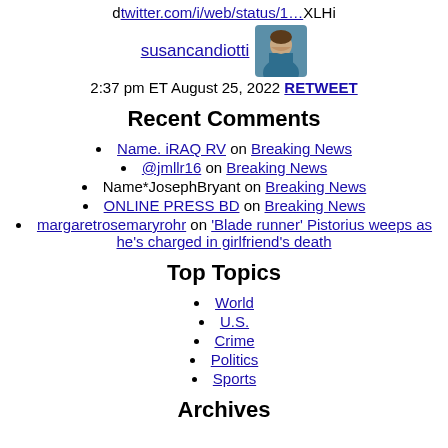dtwitter.com/i/web/status/1…XLHi
[Figure (photo): Profile photo of susancandiotti, a woman in a blue/teal top]
susancandiotti
2:37 pm ET August 25, 2022 RETWEET
Recent Comments
Name. iRAQ RV on Breaking News
@jmllr16 on Breaking News
Name*JosephBryant on Breaking News
ONLINE PRESS BD on Breaking News
margaretrosemaryrohr on 'Blade runner' Pistorius weeps as he's charged in girlfriend's death
Top Topics
World
U.S.
Crime
Politics
Sports
Archives